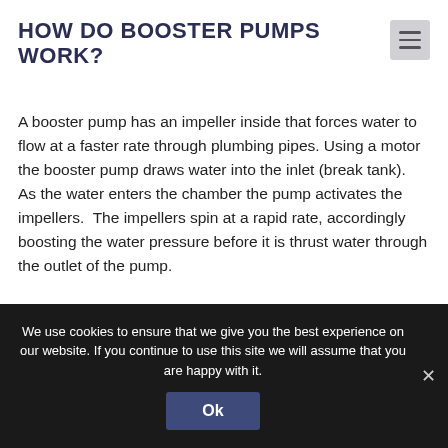HOW DO BOOSTER PUMPS WORK?
A booster pump has an impeller inside that forces water to flow at a faster rate through plumbing pipes. Using a motor the booster pump draws water into the inlet (break tank).  As the water enters the chamber the pump activates the impellers.  The impellers spin at a rapid rate, accordingly boosting the water pressure before it is thrust water through the outlet of the pump.
We use cookies to ensure that we give you the best experience on our website. If you continue to use this site we will assume that you are happy with it.